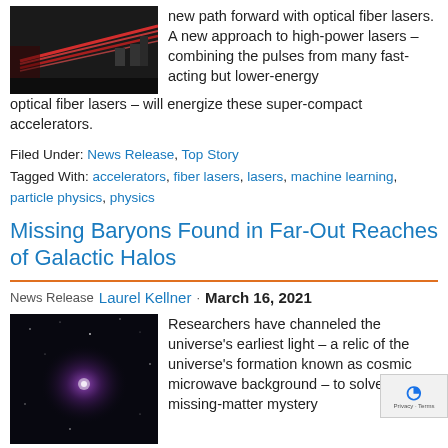[Figure (photo): Photo of red laser beams with optical fiber laser equipment on a dark background]
new path forward with optical fiber lasers. A new approach to high-power lasers – combining the pulses from many fast-acting but lower-energy optical fiber lasers – will energize these super-compact accelerators.
Filed Under: News Release, Top Story
Tagged With: accelerators, fiber lasers, lasers, machine learning, particle physics, physics
Missing Baryons Found in Far-Out Reaches of Galactic Halos
News Release Laurel Kellner · March 16, 2021
[Figure (photo): Photo of a galaxy halo – dark background with a faint purple/violet glow at center suggesting cosmic structure]
Researchers have channeled the universe's earliest light – a relic of the universe's formation known as cosmic microwave background – to solve a missing-matter mystery